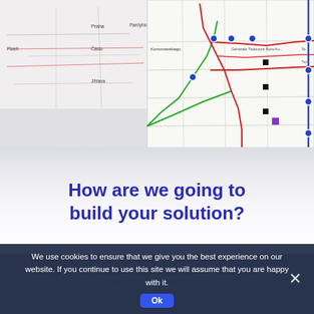[Figure (map): Two map screenshots side by side: left shows a geographic road/area map with Polish city names (Praha, Pardybice, Płzeh, Čáslo, Jihlava), right shows a transit/network route map with colored lines (red, green, blue) and labeled stops including Komorowskiego and Generała Tadeusza Bora-Komorowskiego]
How are we going to build your solution?
Our development team is experienced in... and needs in mind... scalable, and intuitive software... bearing in mind...
We use cookies to ensure that we give you the best experience on our website. If you continue to use this site we will assume that you are happy with it.